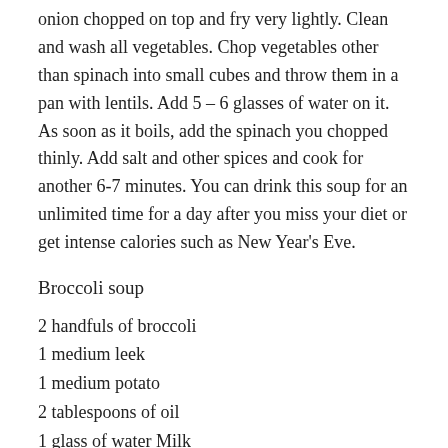onion chopped on top and fry very lightly. Clean and wash all vegetables. Chop vegetables other than spinach into small cubes and throw them in a pan with lentils. Add 5 – 6 glasses of water on it. As soon as it boils, add the spinach you chopped thinly. Add salt and other spices and cook for another 6-7 minutes. You can drink this soup for an unlimited time for a day after you miss your diet or get intense calories such as New Year's Eve.
Broccoli soup
2 handfuls of broccoli
1 medium leek
1 medium potato
2 tablespoons of oil
1 glass of water Milk
Salt, pepper
Roast the broccoli, leek and carrots you chopped into the oil for 2-3 minutes. Add four cups of water and a glass of skim milk and boil, then pass through the blender. If you add salt after boiling, you will prevent...